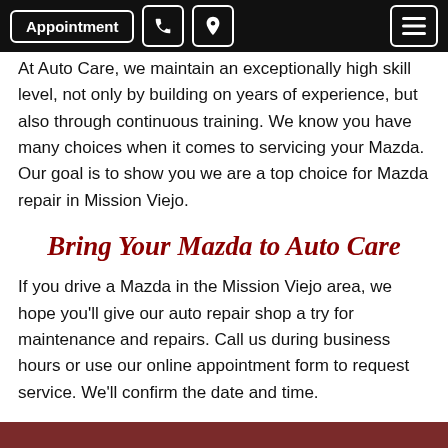Appointment [phone icon] [location icon] [menu icon]
At Auto Care, we maintain an exceptionally high skill level, not only by building on years of experience, but also through continuous training. We know you have many choices when it comes to servicing your Mazda. Our goal is to show you we are a top choice for Mazda repair in Mission Viejo.
Bring Your Mazda to Auto Care
If you drive a Mazda in the Mission Viejo area, we hope you'll give our auto repair shop a try for maintenance and repairs. Call us during business hours or use our online appointment form to request service. We'll confirm the date and time.